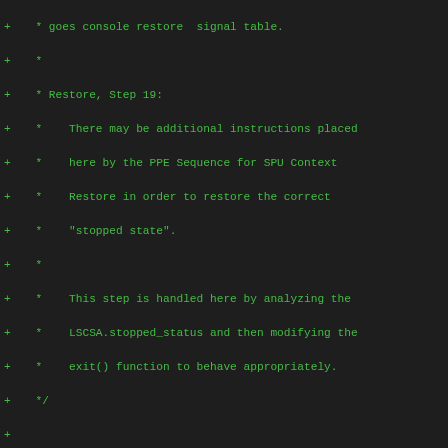Source code diff/patch showing SPU context restore logic in C, with comments about Restore Step 19 and switch statement handling stopped_status.